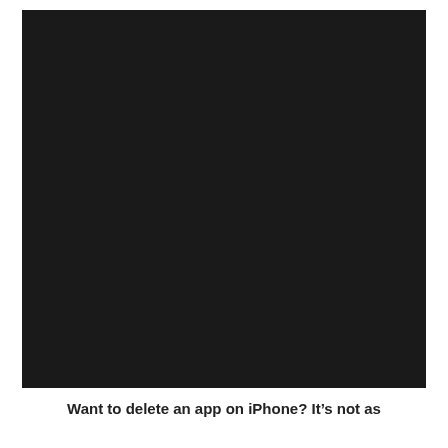[Figure (photo): A dark/black image, likely a screenshot of an iPhone screen showing a dark background, possibly illustrating how to delete an app on iPhone.]
Want to delete an app on iPhone? It’s not as